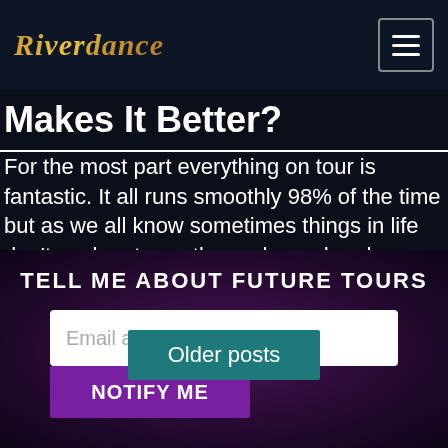Riverdance
Makes It Better?
For the most part everything on tour is fantastic. It all runs smoothly 98% of the time but as we all know sometimes things in life don't work out exactly as planned and on tour we are no strangers to that.
Older posts
TELL ME ABOUT FUTURE TOURS
Email address
NOTIFY ME